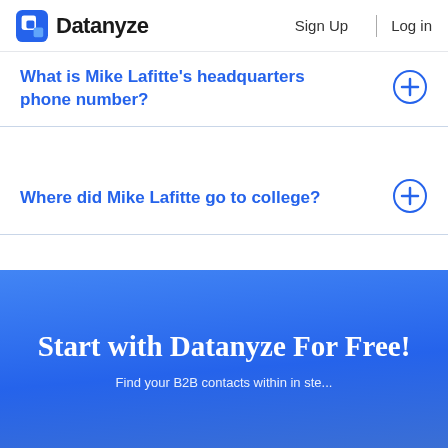Datanyze | Sign Up | Log in
What is Mike Lafitte's headquarters phone number?
Where did Mike Lafitte go to college?
Start with Datanyze For Free!
Find your B2B contacts within in ste...